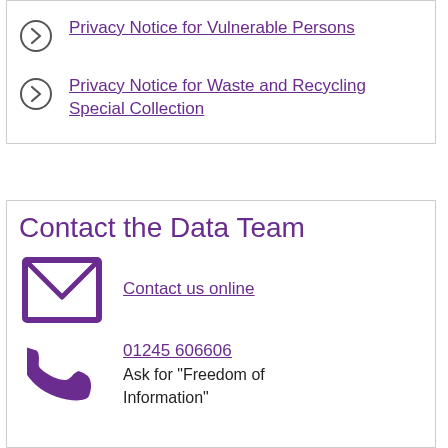Privacy Notice for Vulnerable Persons
Privacy Notice for Waste and Recycling Special Collection
Contact the Data Team
[Figure (illustration): Purple envelope/mail icon]
Contact us online
[Figure (illustration): Purple telephone icon]
01245 606606
Ask for "Freedom of Information"